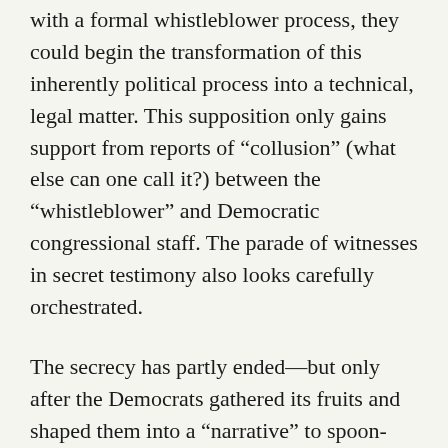with a formal whistleblower process, they could begin the transformation of this inherently political process into a technical, legal matter. This supposition only gains support from reports of “collusion” (what else can one call it?) between the “whistleblower” and Democratic congressional staff. The parade of witnesses in secret testimony also looks carefully orchestrated.
The secrecy has partly ended—but only after the Democrats gathered its fruits and shaped them into a “narrative” to spoon-feed to the public. The playbook is the same one that failed with the Russia hoax: selectively leak to create a fog, a miasma of vaguely negative-sounding “facts” or allegations that seem ominous but also too complex and in-the-